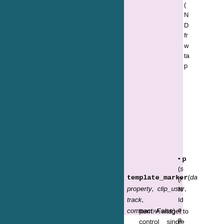[Figure (other): Teal/dark cyan colored left panel background]
[Figure (other): Light pink/lavender background box on right side]
N D fr w ta p
p (s (r N Id o p in
template_marker(da property, clip_user, track, compact=False)
Item. A widget to control single